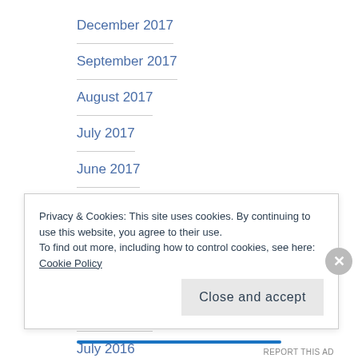December 2017
September 2017
August 2017
July 2017
June 2017
May 2017
April 2017
September 2016
August 2016
July 2016
Privacy & Cookies: This site uses cookies. By continuing to use this website, you agree to their use.
To find out more, including how to control cookies, see here: Cookie Policy
Close and accept